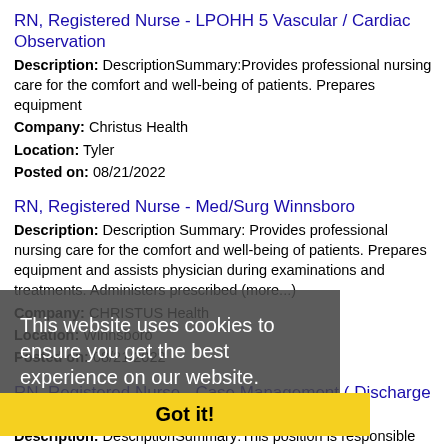RN, Registered Nurse - LPOHH 5 Vascular / Cardiac Observation
Description: DescriptionSummary:Provides professional nursing care for the comfort and well-being of patients. Prepares equipment
Company: Christus Health
Location: Tyler
Posted on: 08/21/2022
RN, Registered Nurse - Med/Surg Winnsboro
Description: Description Summary: Provides professional nursing care for the comfort and well-being of patients. Prepares equipment and assists physician during examinations and treatments. Administers prescribed (more...)
Company: CHRISTUS Health
Location: Winnsboro
Posted on: 08/21/2022
RN, Registered Nurse - Case Management ( Discharge Planning )
Description: DescriptionSummary:This position is responsible for the coordination of care for the patient and their support systems. Collaborations with physicians, social work, nursing, and all
This website uses cookies to ensure you get the best experience on our website.
Learn more
Got it!